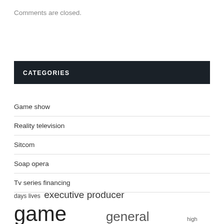Comments are closed.
CATEGORIES
Game show
Reality television
Sitcom
Soap opera
Tv series financing
days lives  executive producer  game show  general hospital  high school